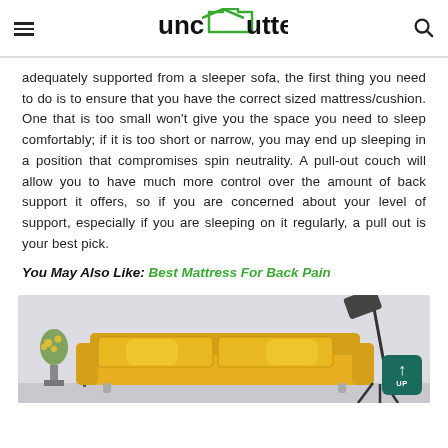unclutterer
adequately supported from a sleeper sofa, the first thing you need to do is to ensure that you have the correct sized mattress/cushion. One that is too small won't give you the space you need to sleep comfortably; if it is too short or narrow, you may end up sleeping in a position that compromises spin neutrality. A pull-out couch will allow you to have much more control over the amount of back support it offers, so if you are concerned about your level of support, especially if you are sleeping on it regularly, a pull out is your best pick.
You May Also Like: Best Mattress For Back Pain
[Figure (photo): Yellow sofa/couch with pillows in a light gray room setting, with a floor lamp in the background and a flower arrangement on the left. An 'UP' button overlay in dark teal is visible in the bottom right corner.]